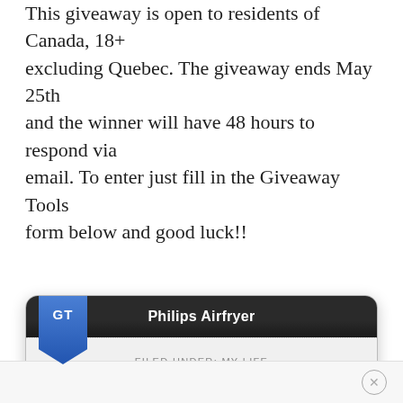This giveaway is open to residents of Canada, 18+ excluding Quebec. The giveaway ends May 25th and the winner will have 48 hours to respond via email. To enter just fill in the Giveaway Tools form below and good luck!!
[Figure (screenshot): Giveaway Tools widget showing 'Philips Airfryer' giveaway with 2326 entries, archived status, Terms & Conditions link, and 'Entry form powered by Giveaway Tools' footer.]
FILED UNDER: MY LIFE